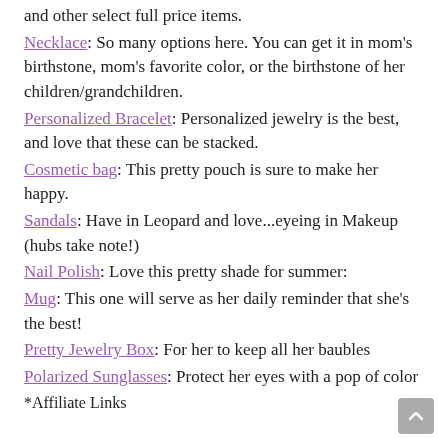and other select full price items.
Necklace: So many options here. You can get it in mom's birthstone, mom's favorite color, or the birthstone of her children/grandchildren.
Personalized Bracelet: Personalized jewelry is the best, and love that these can be stacked.
Cosmetic bag: This pretty pouch is sure to make her happy.
Sandals: Have in Leopard and love...eyeing in Makeup (hubs take note!)
Nail Polish: Love this pretty shade for summer:
Mug: This one will serve as her daily reminder that she's the best!
Pretty Jewelry Box: For her to keep all her baubles
Polarized Sunglasses: Protect her eyes with a pop of color
*Affiliate Links